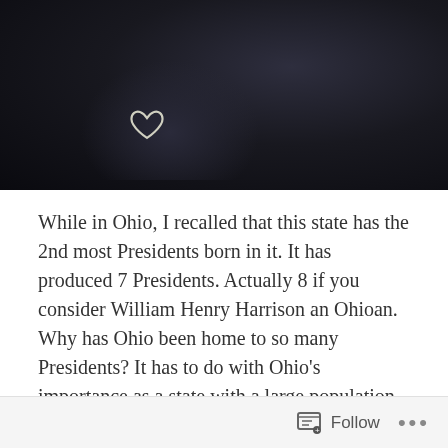[Figure (photo): Dark black-and-white photograph, appears to show a dark background with a faint heart-shaped white outline visible in the lower-left area of the image.]
While in Ohio, I recalled that this state has the 2nd most Presidents born in it. It has produced 7 Presidents. Actually 8 if you consider William Henry Harrison an Ohioan. Why has Ohio been home to so many Presidents? It has to do with Ohio's importance as a state with a large population in the past compared to others. Four presidents have lived in the Cincinnati area.
The only state that has produced more Presidents than
Follow ...